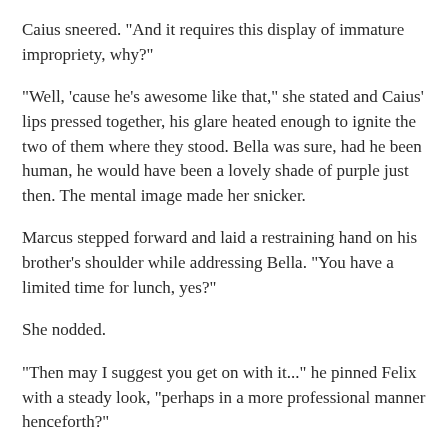Caius sneered. "And it requires this display of immature impropriety, why?"
"Well, 'cause he's awesome like that," she stated and Caius' lips pressed together, his glare heated enough to ignite the two of them where they stood. Bella was sure, had he been human, he would have been a lovely shade of purple just then. The mental image made her snicker.
Marcus stepped forward and laid a restraining hand on his brother's shoulder while addressing Bella. "You have a limited time for lunch, yes?"
She nodded.
"Then may I suggest you get on with it..." he pinned Felix with a steady look, "perhaps in a more professional manner henceforth?"
Felix bowed. "Yes, Masters."